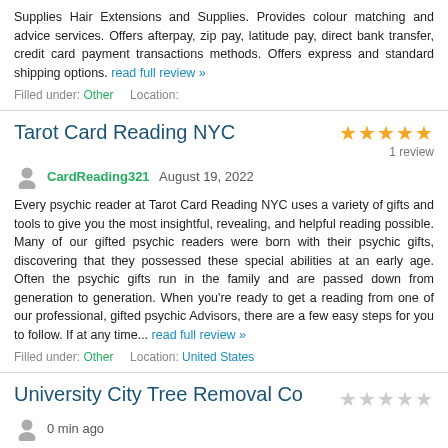Supplies Hair Extensions and Supplies. Provides colour matching and advice services. Offers afterpay, zip pay, latitude pay, direct bank transfer, credit card payment transactions methods. Offers express and standard shipping options. read full review »
Filled under: Other   Location:
Tarot Card Reading NYC
1 review
CardReading321 August 19, 2022
Every psychic reader at Tarot Card Reading NYC uses a variety of gifts and tools to give you the most insightful, revealing, and helpful reading possible. Many of our gifted psychic readers were born with their psychic gifts, discovering that they possessed these special abilities at an early age. Often the psychic gifts run in the family and are passed down from generation to generation. When you're ready to get a reading from one of our professional, gifted psychic Advisors, there are a few easy steps for you to follow. If at any time... read full review »
Filled under: Other   Location: United States
University City Tree Removal Co
0 min ago
read full review »